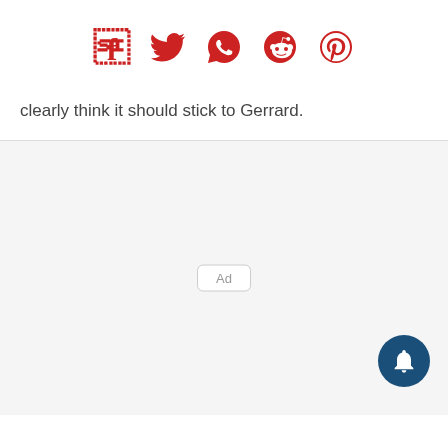[Figure (infographic): Row of five social media share icons in red: Facebook, Twitter, WhatsApp, Reddit, Pinterest]
clearly think it should stick to Gerrard.
[Figure (other): Advertisement placeholder area with an 'Ad' label box and a dark blue notification bell button in the bottom-right corner]